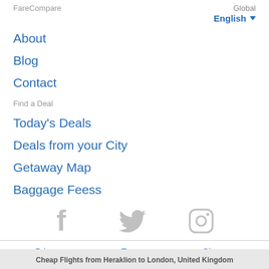FareCompare
Global
English ▾
About
Blog
Contact
Find a Deal
Today's Deals
Deals from your City
Getaway Map
Baggage Feess
[Figure (illustration): Social media icons: Facebook, Twitter, Instagram (all in light gray)]
Privacy    Terms    Sitemap
© Copyright 2006-2020 FareCompare.com. All rights reserved.
Cheap Flights from Heraklion to London, United Kingdom